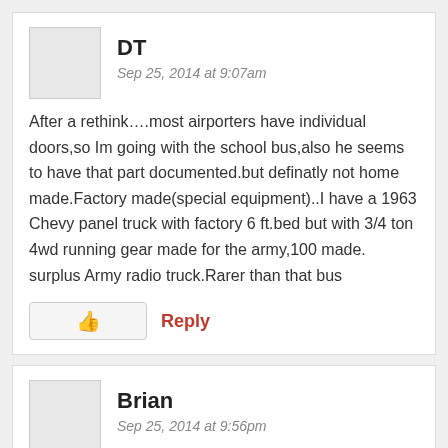DT
Sep 25, 2014 at 9:07am
After a rethink….most airporters have individual doors,so Im going with the school bus,also he seems to have that part documented.but definatly not home made.Factory made(special equipment)..I have a 1963 Chevy panel truck with factory 6 ft.bed but with 3/4 ton 4wd running gear made for the army,100 made. surplus Army radio truck.Rarer than that bus
Reply
Brian
Sep 25, 2014 at 9:56pm